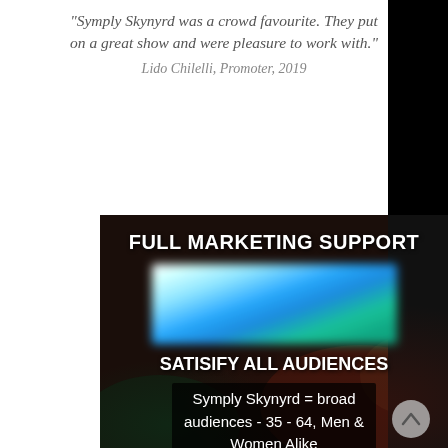"Symply Skynyrd was a crowd favourite. They put on a great show and were pleasure to work with." Lido Chilelli, Promoter, 2019
[Figure (photo): Dark concert/marketing photo with overlaid text: FULL MARKETING SUPPORT, a blurred marketing graphic, SATISIFY ALL AUDIENCES, and text about Symply Skynyrd audiences. Scroll button visible.]